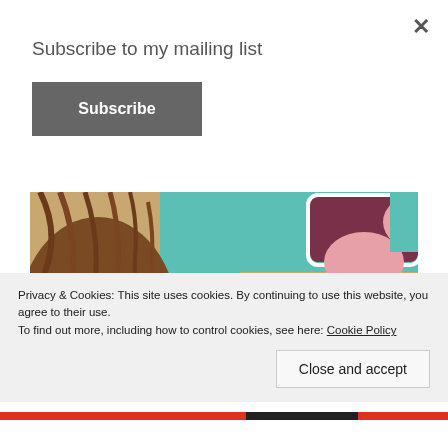Subscribe to my mailing list
Subscribe
[Figure (photo): A person with braided hair in a selfie against a colorful illustrated elephant background artwork with teal, pink, and beige tones.]
Advertisements
Privacy & Cookies: This site uses cookies. By continuing to use this website, you agree to their use.
To find out more, including how to control cookies, see here: Cookie Policy
Close and accept